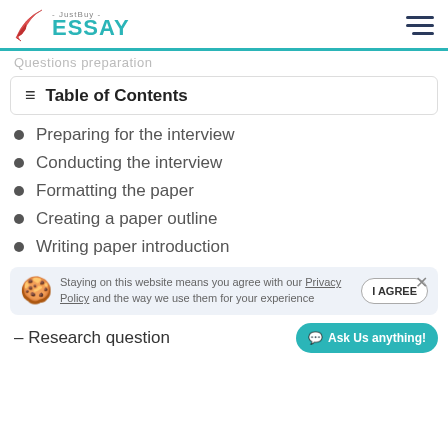JustBuy ESSAY
Questions preparation
Table of Contents
Preparing for the interview
Conducting the interview
Formatting the paper
Creating a paper outline
Writing paper introduction
Staying on this website means you agree with our Privacy Policy and the way we use them for your experience
- Research question